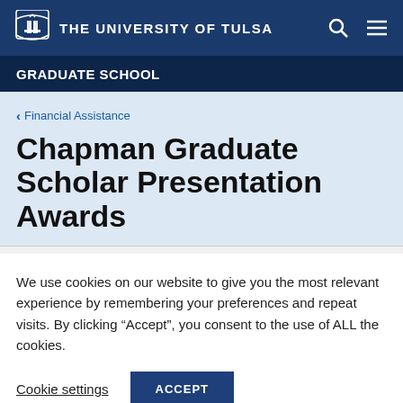THE UNIVERSITY OF TULSA
GRADUATE SCHOOL
< Financial Assistance
Chapman Graduate Scholar Presentation Awards
We use cookies on our website to give you the most relevant experience by remembering your preferences and repeat visits. By clicking "Accept", you consent to the use of ALL the cookies.
Cookie settings | ACCEPT